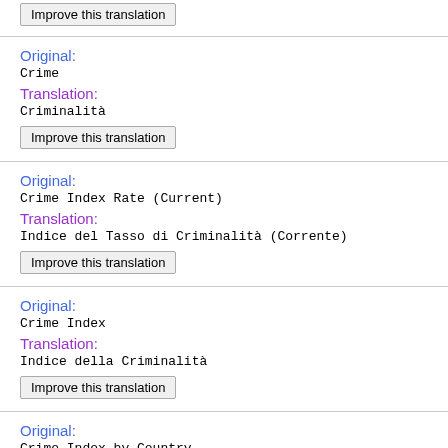Improve this translation
Original:
Crime
Translation:
Criminalità
Improve this translation
Original:
Crime Index Rate (Current)
Translation:
Indice del Tasso di Criminalità (Corrente)
Improve this translation
Original:
Crime Index
Translation:
Indice della Criminalità
Improve this translation
Original:
Crime Index by Country
Translation: